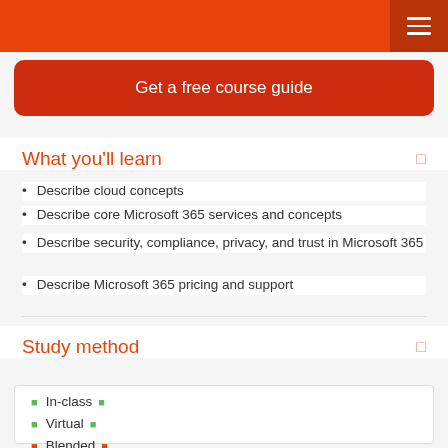Get a free course guide
What you'll learn
Describe cloud concepts
Describe core Microsoft 365 services and concepts
Describe security, compliance, privacy, and trust in Microsoft 365
Describe Microsoft 365 pricing and support
Study method
In-class
Virtual
Blended